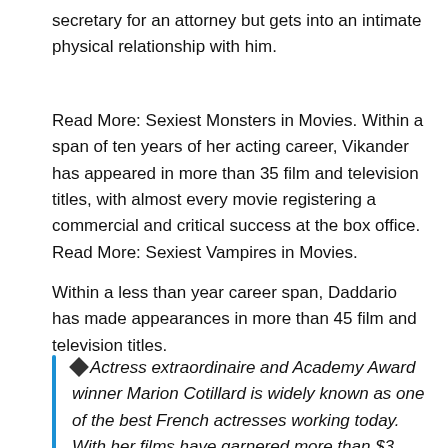secretary for an attorney but gets into an intimate physical relationship with him.
Read More: Sexiest Monsters in Movies. Within a span of ten years of her acting career, Vikander has appeared in more than 35 film and television titles, with almost every movie registering a commercial and critical success at the box office. Read More: Sexiest Vampires in Movies.
Within a less than year career span, Daddario has made appearances in more than 45 film and television titles.
◆ Actress extraordinaire and Academy Award winner Marion Cotillard is widely known as one of the best French actresses working today. With her films have garnered more than $3 billion in revenues at the box office and with more than 50 English, French and other language titles credited to her name, Cotillard remains to be one of the most celebrated